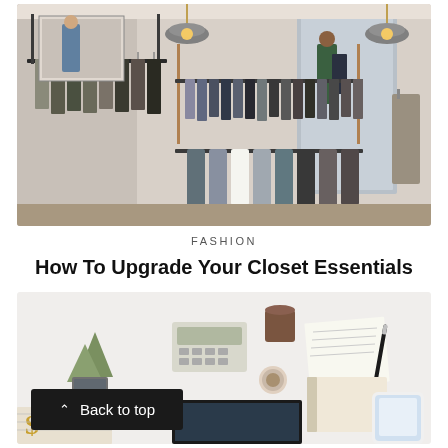[Figure (photo): Interior of a clothing boutique with hanging garments on racks, industrial pendant lights, a full-length mirror reflecting a customer, and dark clothing organized on multiple rails.]
FASHION
How To Upgrade Your Closet Essentials
[Figure (photo): Flat-lay overhead photo of a white desk with a calculator, small potted succulent plant, notebook, pen, a monitor, smartphone, and papers. A black 'Back to top' button overlays the bottom-left of the image.]